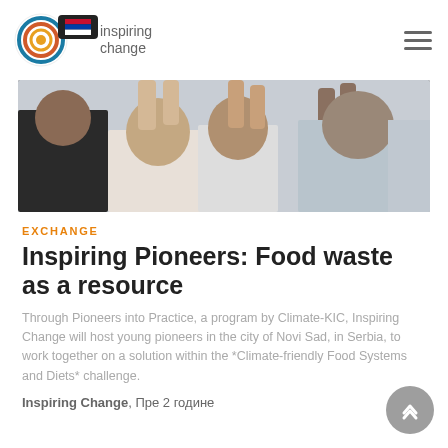inspiring change
[Figure (photo): Group of young people making peace signs with their hands, viewed from below, smiling upward toward the camera.]
EXCHANGE
Inspiring Pioneers: Food waste as a resource
Through Pioneers into Practice, a program by Climate-KIC, Inspiring Change will host young pioneers in the city of Novi Sad, in Serbia, to work together on a solution within the *Climate-friendly Food Systems and Diets* challenge.
Inspiring Change, Пре 2 године